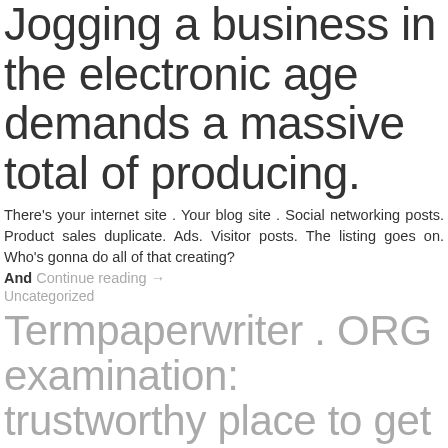Jogging a business in the electronic age demands a massive total of producing.
There's your internet site . Your blog site . Social networking posts. Product sales duplicate. Ads. Visitor posts. The listing goes on. Who's gonna do all of that creating?
And Continue reading →
Uncategorized
Termpaperwriter . ORG examination: trustworthy place to get papers readily & on time
January 17, 2016 makh
Are you presently concerned concerning how to cope with hard scholastic writing pieces? termpaperwriter.org provides you the best methods which will help you get high grades.